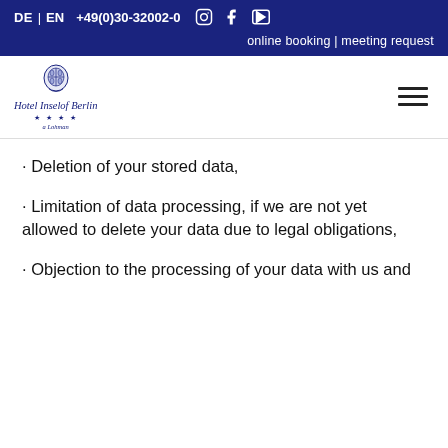DE | EN  +49(0)30-32002-0  [Instagram] [Facebook] [YouTube]
online booking | meeting request
[Figure (logo): Hotel Inselof Berlin logo with crest, italic script text, four stars, and subtitle]
· Deletion of your stored data,
· Limitation of data processing, if we are not yet allowed to delete your data due to legal obligations,
· Objection to the processing of your data with us and